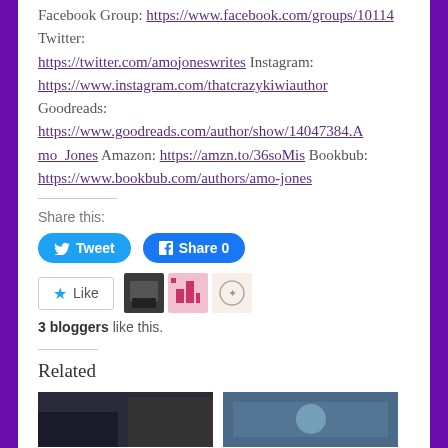Facebook Group: https://www.facebook.com/groups/10114 Twitter: https://twitter.com/amojoneswrites Instagram: https://www.instagram.com/thatcrazykiwiauthor Goodreads: https://www.goodreads.com/author/show/14047384.Amo_Jones Amazon: https://amzn.to/36soMis Bookbub: https://www.bookbub.com/authors/amo-jones
Share this:
[Figure (infographic): Tweet and Share 0 social buttons]
[Figure (infographic): Like button and 3 blogger avatars]
3 bloggers like this.
Related
[Figure (photo): Two thumbnail images at the bottom]